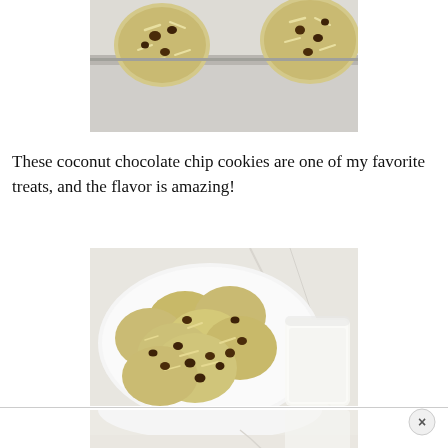[Figure (photo): Top portion of cookies on a baking sheet/tray — coconut chocolate chip cookies viewed from above, showing two or three cookies on a light-colored baking pan]
These coconut chocolate chip cookies are one of my favorite treats, and the flavor is amazing!
[Figure (photo): A pile of coconut chocolate chip cookies on a white plate, with a glass of milk partially visible at the right edge, viewed from slightly above]
[Figure (photo): Bottom portion of the plate and milk glass scene, partially cropped — light marble background visible]